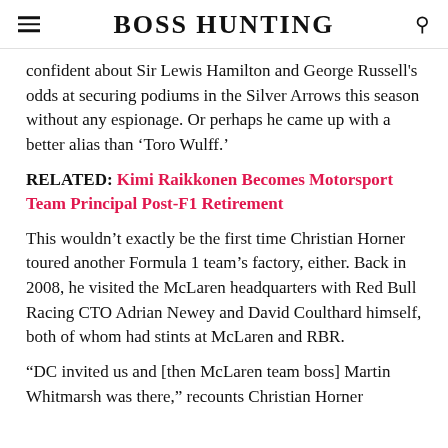BOSS HUNTING
confident about Sir Lewis Hamilton and George Russell's odds at securing podiums in the Silver Arrows this season without any espionage. Or perhaps he came up with a better alias than ‘Toro Wulff.’
RELATED: Kimi Raikkonen Becomes Motorsport Team Principal Post-F1 Retirement
This wouldn’t exactly be the first time Christian Horner toured another Formula 1 team’s factory, either. Back in 2008, he visited the McLaren headquarters with Red Bull Racing CTO Adrian Newey and David Coulthard himself, both of whom had stints at McLaren and RBR.
“DC invited us and [then McLaren team boss] Martin Whitmarsh was there,” recounts Christian Horner